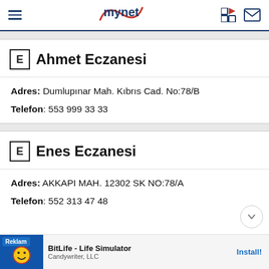mynet
E Ahmet Eczanesi
Adres: Dumlupınar Mah. Kıbrıs Cad. No:78/B
Telefon: 553 999 33 33
E Enes Eczanesi
Adres: AKKAPI MAH. 12302 SK NO:78/A
Telefon: 552 313 47 48
[Figure (screenshot): Advertisement banner for BitLife - Life Simulator by Candywriter, LLC with Install button]